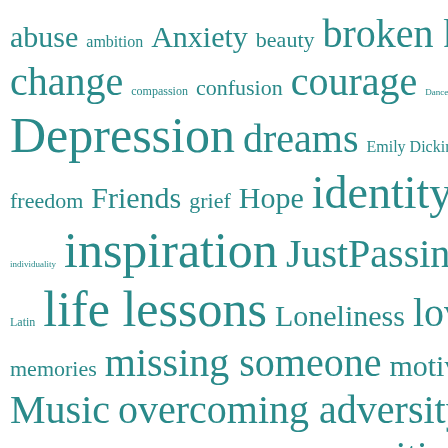[Figure (infographic): Word cloud / tag cloud with words of varying sizes in teal color on white background. Words include: abuse, ambition, Anxiety, beauty, broken heart, change, compassion, confusion, courage, DanceItOut, Depression, dreams, Emily Dickinson, fear, freedom, Friends, grief, Hope, identity, individuality, inspiration, JustPassingitAlong, Latin, life lessons, Loneliness, love, memories, missing someone, motivation, Music, overcoming adversity, pain, peace, perseverance, philosophy, positivity, Possibility, pretending, purpose, rage, rape, Recipes, self-awareness, self doubt, suffering, truth]